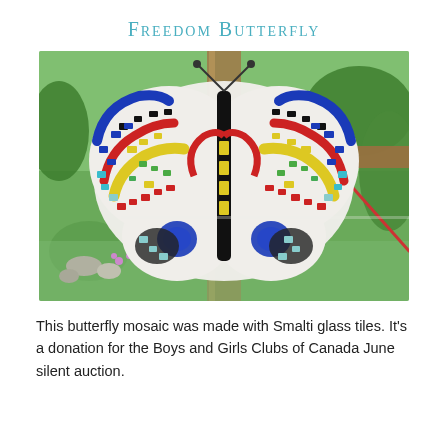Freedom Butterfly
[Figure (photo): A colorful butterfly mosaic made with Smalti glass tiles in red, blue, yellow, green, black, and white patterns, mounted outdoors on a wooden post against a green garden background.]
This butterfly mosaic was made with Smalti glass tiles. It's a donation for the Boys and Girls Clubs of Canada June silent auction.